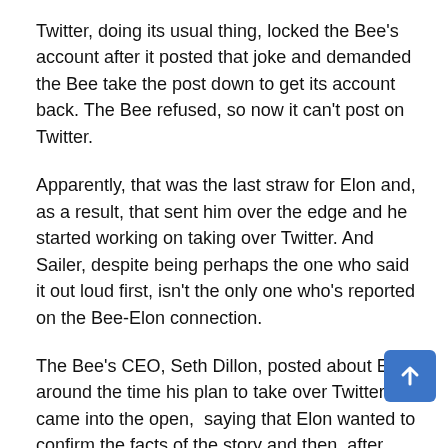Twitter, doing its usual thing, locked the Bee's account after it posted that joke and demanded the Bee take the post down to get its account back. The Bee refused, so now it can't post on Twitter.
Apparently, that was the last straw for Elon and, as a result, that sent him over the edge and he started working on taking over Twitter. And Sailer, despite being perhaps the one who said it out loud first, isn't the only one who's reported on the Bee-Elon connection.
The Bee's CEO, Seth Dillon, posted about Elon around the time his plan to take over Twitter came into the open,  saying that Elon wanted to confirm the facts of the story and then, after hearing what happened to the Bee, said that he might need to buy it:
Musk reached out to us before he polled his followers about